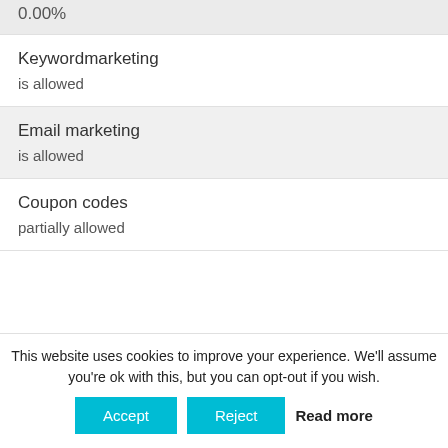0.00%
Keywordmarketing
is allowed
Email marketing
is allowed
Coupon codes
partially allowed
This website uses cookies to improve your experience. We'll assume you're ok with this, but you can opt-out if you wish.
Accept
Reject
Read more